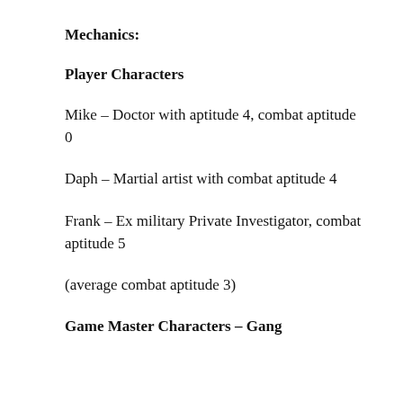Mechanics:
Player Characters
Mike – Doctor with aptitude 4, combat aptitude 0
Daph – Martial artist with combat aptitude 4
Frank – Ex military Private Investigator, combat aptitude 5
(average combat aptitude 3)
Game Master Characters – Gang